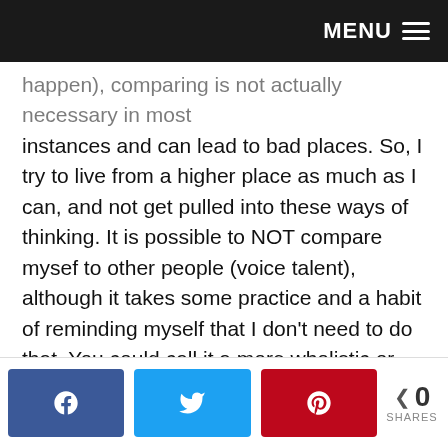MENU
happen), comparing is not actually necessary in most instances and can lead to bad places. So, I try to live from a higher place as much as I can, and not get pulled into these ways of thinking. It is possible to NOT compare mysef to other people (voice talent), although it takes some practice and a habit of reminding myself that I don't need to do that. You could call it a more wholistic or spiritual perspective on competition.

From that vantage point, there is no need or reason to compare. I don't always stay in that place, but I have learned how to shift into it when I (or more specifically, my ego) starts feeling insecure about...